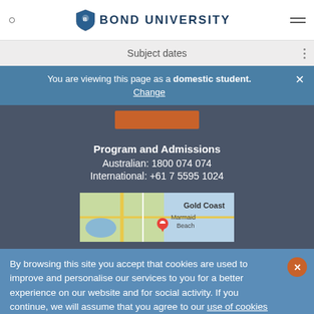BOND UNIVERSITY
Subject dates
You are viewing this page as a domestic student. Change
[Figure (other): Orange button placeholder]
Program and Admissions
Australian: 1800 074 074
International: +61 7 5595 1024
[Figure (map): Google map showing Gold Coast, Marmaid Beach area with a red pin marker]
By browsing this site you accept that cookies are used to improve and personalise our services to you for a better experience on our website and for social activity. If you continue, we will assume that you agree to our use of cookies statement.